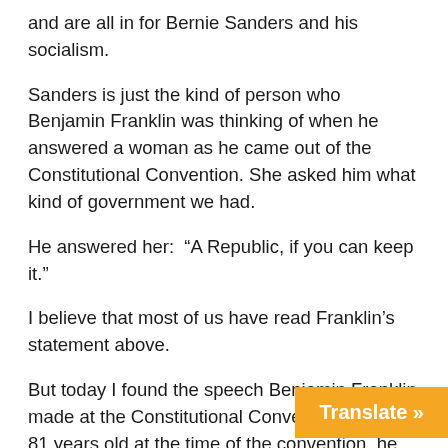and are all in for Bernie Sanders and his socialism.
Sanders is just the kind of person who Benjamin Franklin was thinking of when he answered a woman as he came out of the Constitutional Convention. She asked him what kind of government we had.
He answered her:  “A Republic, if you can keep it.”
I believe that most of us have read Franklin’s statement above.
But today I found the speech Benjamin Franklin made at the Constitutional Convention. Being 81 years old at the time of the convention, he had another member read it.
Here is a part of the speech:
“In these sentiments, Sir, I agree to this Constitution with all its faults, if they are such; because I think a general Government necessary for us, and there is
Translate »